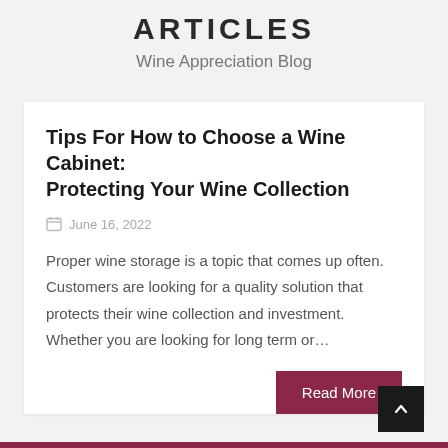ARTICLES
Wine Appreciation Blog
Tips For How to Choose a Wine Cabinet: Protecting Your Wine Collection
June 16, 2022
Proper wine storage is a topic that comes up often. Customers are looking for a quality solution that protects their wine collection and investment. Whether you are looking for long term or...
Read More